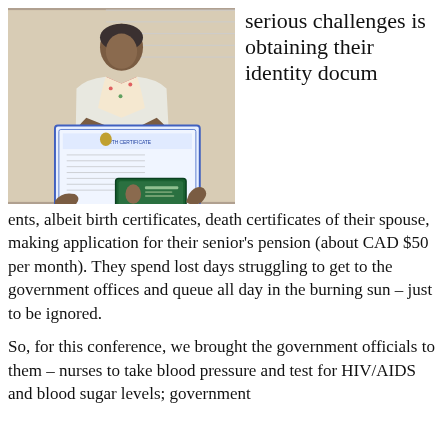[Figure (photo): An elderly woman holding up a large birth certificate document and a smaller ID card, standing outdoors.]
serious challenges is obtaining their identity documents, albeit birth certificates, death certificates of their spouse, making application for their senior's pension (about CAD $50 per month). They spend lost days struggling to get to the government offices and queue all day in the burning sun – just to be ignored.
So, for this conference, we brought the government officials to them – nurses to take blood pressure and test for HIV/AIDS and blood sugar levels; government